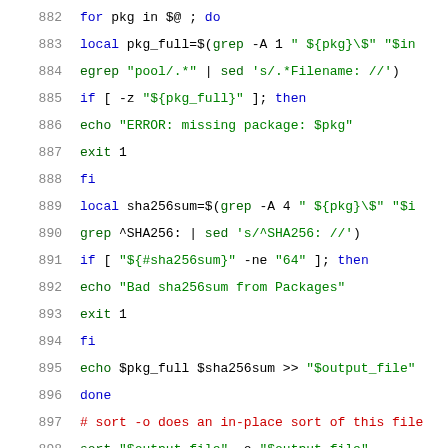882-903: shell script code listing showing package processing loop with sha256sum verification and PrintArchitectures comment block